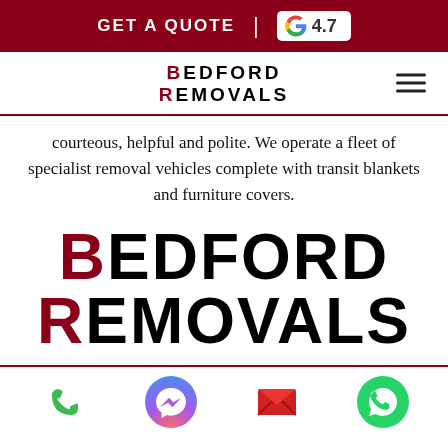GET A QUOTE | G 4.7
[Figure (logo): Bedford Removals logo in navigation bar with hamburger menu icon]
courteous, helpful and polite. We operate a fleet of specialist removal vehicles complete with transit blankets and furniture covers.
[Figure (logo): Large Bedford Removals logo with B and R in dark red and rest of text in black]
Phone icon, Messenger icon, Email icon, WhatsApp icon